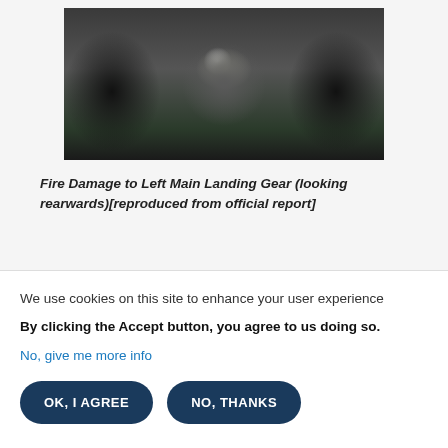[Figure (photo): Photograph of fire damage to left main landing gear of an aircraft, viewed looking rearwards. Shows heavily damaged tires, wheel assembly and mechanical components with fire/heat damage.]
Fire Damage to Left Main Landing Gear (looking rearwards)[reproduced from official report]
We use cookies on this site to enhance your user experience
By clicking the Accept button, you agree to us doing so.
No, give me more info